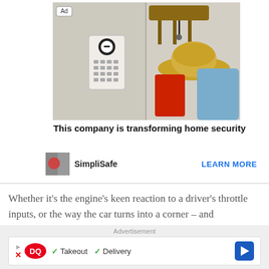[Figure (photo): Photo of a home security keypad mounted on a wall next to a coat rack with a straw hat, red bag, and blue jacket hanging on hooks. Ad badge visible in top-left corner.]
This company is transforming home security
[Figure (logo): SimpliSafe brand thumbnail image and name with LEARN MORE link]
Whether it's the engine's keen reaction to a driver's throttle inputs, or the way the car turns into a corner – and
Advertisement
[Figure (infographic): Dairy Queen ad bar showing DQ logo with Takeout and Delivery checkmarks and navigation arrow icon]